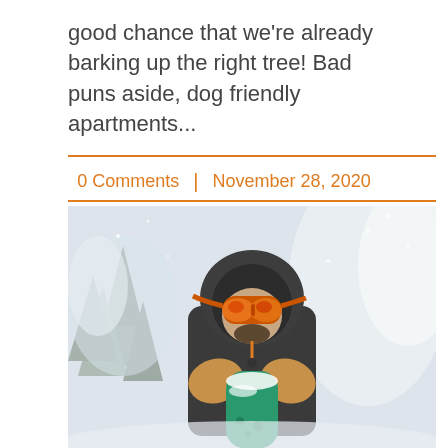good chance that we're already barking up the right tree! Bad puns aside, dog friendly apartments...
0 Comments | November 28, 2020
[Figure (photo): A snowboarder wearing ski goggles, orange-tinted reflective lenses, a dark parka, and yellow/tan leather gloves, holding a green snowboard with snow on it. Snowy winter background with pine trees in the distance and blowing snow.]